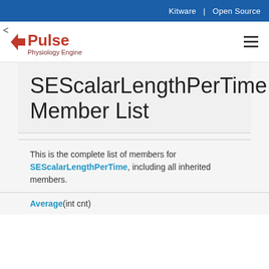Kitware | Open Source
[Figure (logo): Pulse Physiology Engine logo with red arrow icon and red/dark text]
SEScalarLengthPerTime Member List
This is the complete list of members for SEScalarLengthPerTime, including all inherited members.
Average(int cnt)